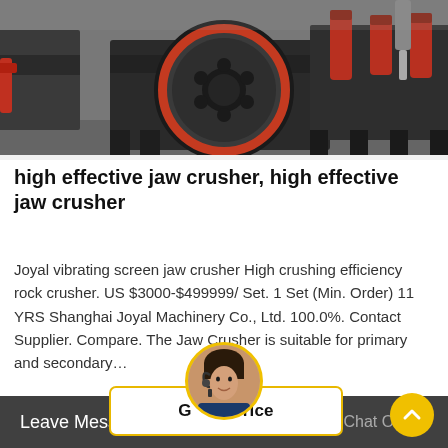[Figure (photo): Industrial jaw crusher machinery in a factory setting, showing large metal equipment with a prominent flywheel with red rim, dark grey/black body, and red cylindrical components on stands. Multiple units visible in background on concrete floor.]
high effective jaw crusher, high effective jaw crusher
Joyal vibrating screen jaw crusher High crushing efficiency rock crusher. US $3000-$499999/ Set. 1 Set (Min. Order) 11 YRS Shanghai Joyal Machinery Co., Ltd. 100.0%. Contact Supplier. Compare. The Jaw Crusher is suitable for primary and secondary…
[Figure (other): Get Price button with yellow border, and a circular chat avatar of a woman with headset, bordered in yellow]
Leave Message   Chat Online